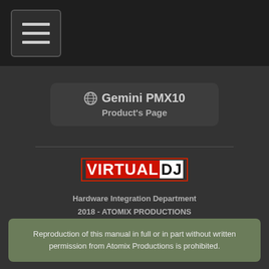[Figure (other): Hamburger menu button (three horizontal lines) in top navigation bar]
Gemini PMX10
Product's Page
[Figure (logo): VirtualDJ logo with VIRTUAL in red background and DJ in white/black]
Hardware Integration Department
2018 - ATOMIX PRODUCTIONS
Reproduction of this manual in full or in part without written permission from Atomix Productions is prohibited.